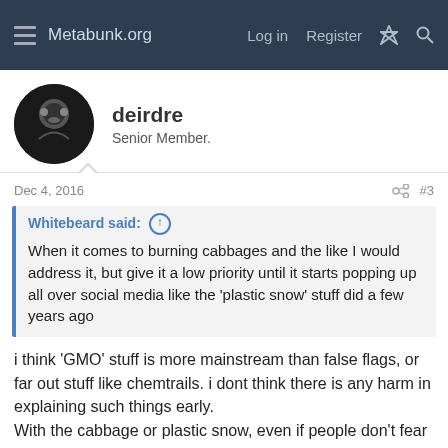Metabunk.org  Log in  Register
deirdre
Senior Member.
Dec 4, 2016  #3
Whitebeard said: When it comes to burning cabbages and the like I would address it, but give it a low priority until it starts popping up all over social media like the 'plastic snow' stuff did a few years ago
i think 'GMO' stuff is more mainstream than false flags, or far out stuff like chemtrails. i dont think there is any harm in explaining such things early.
With the cabbage or plastic snow, even if people don't fear 'gmo' or chemtrails, they might google an explanation just because they dont think it through (re: the 95% water content) and find it odd.